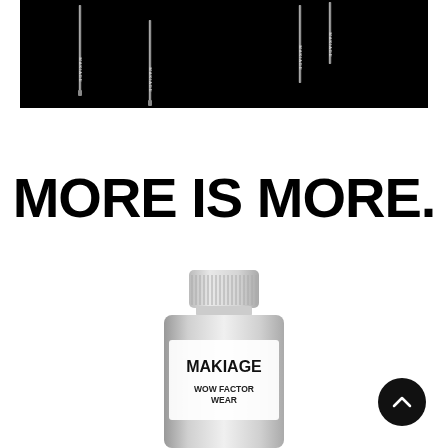[Figure (photo): Black and white product photo showing multiple MAKIAGE eyeliner pencils arranged diagonally on a black background]
MORE IS MORE.
[Figure (photo): MAKIAGE branded cosmetic tube labeled 'WOW FACTOR WEAR' shown on white background with silver metallic packaging]
[Figure (other): Dark circular scroll-up button with upward chevron arrow]